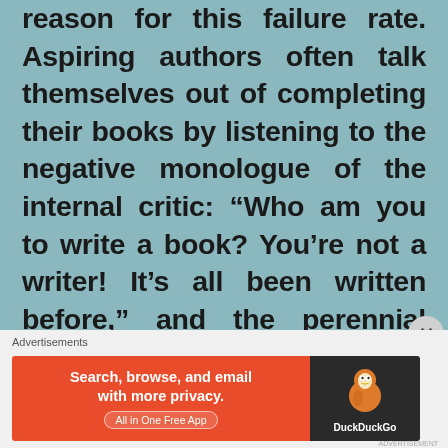reason for this failure rate. Aspiring authors often talk themselves out of completing their books by listening to the negative monologue of the internal critic: “Who am you to write a book? You’re not a writer! It’s all been written before,” and the perennial favourite, “This is much too hard, why don’t you just quit?!” are only a few of the many excuses that end their authorship journey. When I was deeply immersed in the writing phase, during some research I came
Advertisements
[Figure (other): DuckDuckGo advertisement banner: orange left side with text 'Search, browse, and email with more privacy. All in One Free App', dark right side with DuckDuckGo duck logo and brand name.]